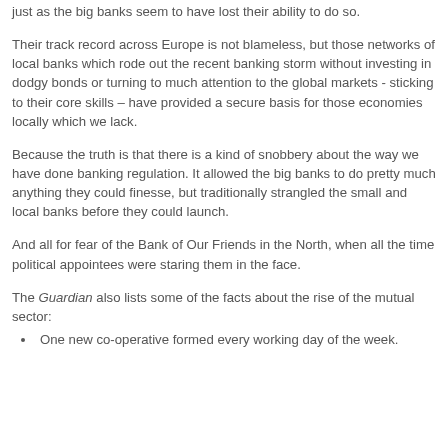just as the big banks seem to have lost their ability to do so.
Their track record across Europe is not blameless, but those networks of local banks which rode out the recent banking storm without investing in dodgy bonds or turning to much attention to the global markets - sticking to their core skills – have provided a secure basis for those economies locally which we lack.
Because the truth is that there is a kind of snobbery about the way we have done banking regulation. It allowed the big banks to do pretty much anything they could finesse, but traditionally strangled the small and local banks before they could launch.
And all for fear of the Bank of Our Friends in the North, when all the time political appointees were staring them in the face.
The Guardian also lists some of the facts about the rise of the mutual sector:
One new co-operative formed every working day of the week.